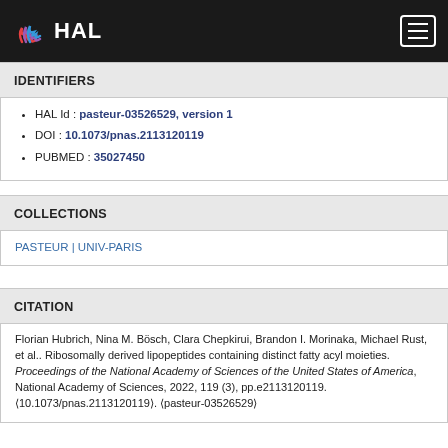HAL
IDENTIFIERS
HAL Id : pasteur-03526529, version 1
DOI : 10.1073/pnas.2113120119
PUBMED : 35027450
COLLECTIONS
PASTEUR | UNIV-PARIS
CITATION
Florian Hubrich, Nina M. Bösch, Clara Chepkirui, Brandon I. Morinaka, Michael Rust, et al.. Ribosomally derived lipopeptides containing distinct fatty acyl moieties. Proceedings of the National Academy of Sciences of the United States of America, National Academy of Sciences, 2022, 119 (3), pp.e2113120119. ⟨10.1073/pnas.2113120119⟩. ⟨pasteur-03526529⟩